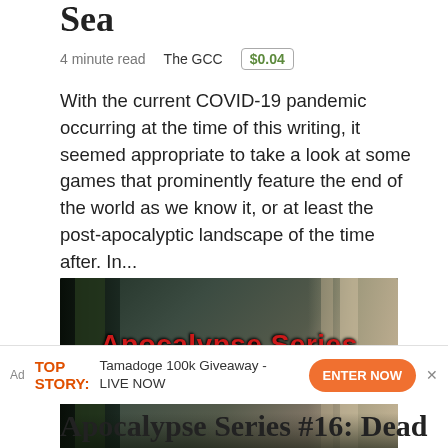Sea
4 minute read    The GCC    $0.04
With the current COVID-19 pandemic occurring at the time of this writing, it seemed appropriate to take a look at some games that prominently feature the end of the world as we know it, or at least the post-apocalyptic landscape of the time after. In...
[Figure (photo): Dark corridor/hallway photo with overlaid red bold text reading 'Apocalypse Series Game Reviews']
Ad  TOP STORY:  Tamadoge 100k Giveaway - LIVE NOW  ENTER NOW  ×
Apocalypse Series #16: Dead State: